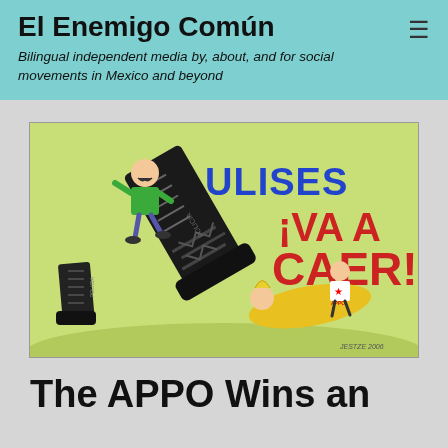El Enemigo Común
Bilingual independent media by, about, and for social movements in Mexico and beyond
[Figure (illustration): Political cartoon showing police boots labeled 'POLICIA' stomping, with text 'ULISES ¡VA A CAER!' in blue and red letters. A figure in a green shirt runs away while a yellow figure lies on the ground and a small figure in white with a red star pushes back. Background is light green.]
The APPO Wins an